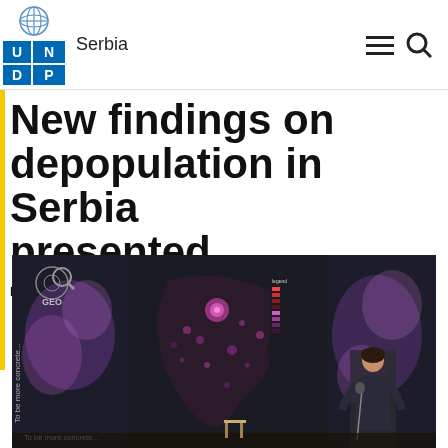Serbia
New findings on depopulation in Serbia presented
POSTED JUNE 30, 2021
[Figure (photo): A woman presenting at an outdoor event in front of a large screen displaying a dark map of Serbia with population density data points. The screen shows the GEO logo on the left panel and text reading 'To be more concrete...' The presenter stands at a microphone on the right side of the stage, with green trees visible in the background.]